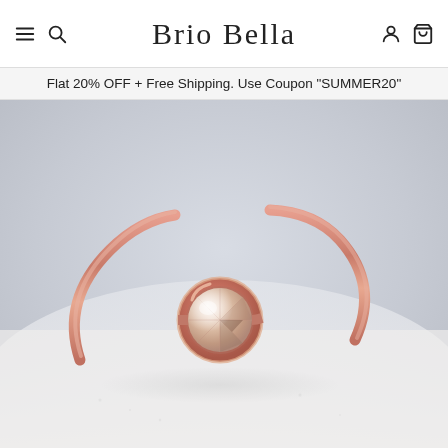Brio Bella — navigation header with menu, search, account, and cart icons
Flat 20% OFF + Free Shipping. Use Coupon "SUMMER20"
[Figure (photo): Close-up photo of a delicate rose gold solitaire ring with a round bezel-set morganite or pale pink gemstone, photographed on a white textured surface.]